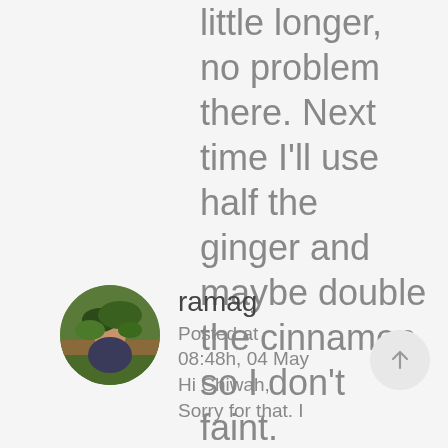little longer, no problem there. Next time I'll use half the ginger and maybe double the cinnamon, so I don't faint.
ramag
Posted at 08:48h, 04 May
Hi Chiwah,
Sorry for that. I